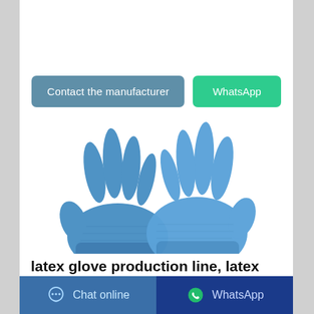[Figure (photo): Two blue nitrile/latex gloves photographed on white background]
Contact the manufacturer   WhatsApp
latex glove production line, latex
Chat online   WhatsApp